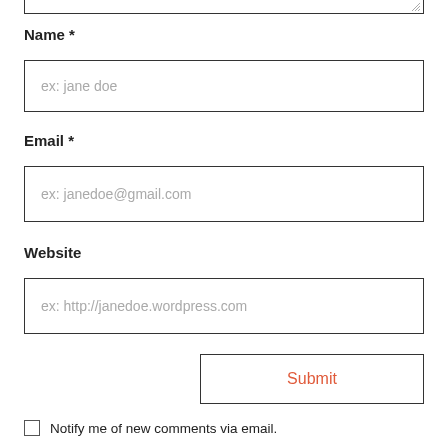[Figure (screenshot): Top portion of a textarea input field (bottom border and resize handle visible)]
Name *
[Figure (screenshot): Text input field with placeholder text 'ex: jane doe']
Email *
[Figure (screenshot): Text input field with placeholder text 'ex: janedoe@gmail.com']
Website
[Figure (screenshot): Text input field with placeholder text 'ex: http://janedoe.wordpress.com']
[Figure (screenshot): Submit button with red/orange 'Submit' text]
Notify me of new comments via email.